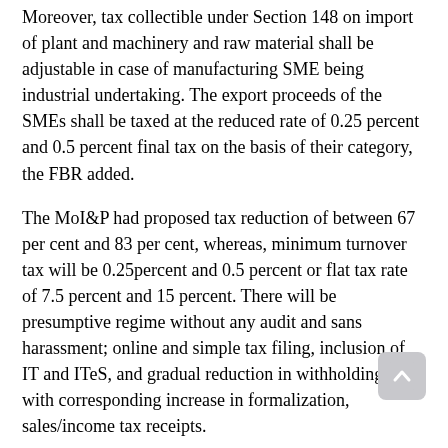Moreover, tax collectible under Section 148 on import of plant and machinery and raw material shall be adjustable in case of manufacturing SME being industrial undertaking. The export proceeds of the SMEs shall be taxed at the reduced rate of 0.25 percent and 0.5 percent final tax on the basis of their category, the FBR added.
The MoI&P had proposed tax reduction of between 67 per cent and 83 per cent, whereas, minimum turnover tax will be 0.25percent and 0.5 percent or flat tax rate of 7.5 percent and 15 percent. There will be presumptive regime without any audit and sans harassment; online and simple tax filing, inclusion of IT and ITeS, and gradual reduction in withholding tax with corresponding increase in formalization, sales/income tax receipts.
The budget will finance allocation of Rs 30 billion on the SME...